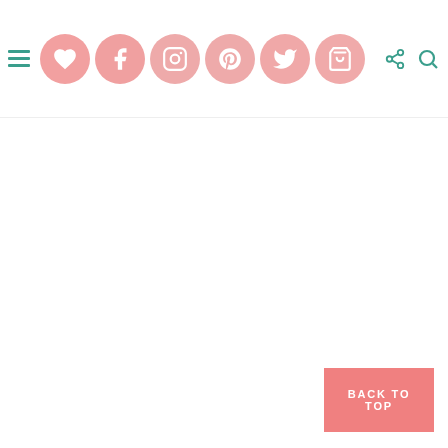Navigation header with hamburger menu, social media icons (heart, facebook, instagram, pinterest, twitter, shopping cart), share icon, and search icon
BACK TO TOP